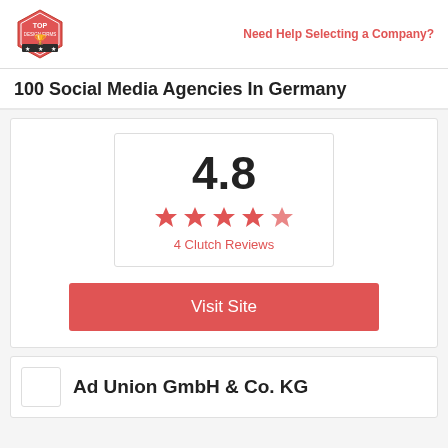Top Design Firms | Need Help Selecting a Company?
100 Social Media Agencies In Germany
[Figure (other): Rating card showing 4.8 score with 5 red stars and '4 Clutch Reviews' text, plus a red 'Visit Site' button]
Ad Union GmbH & Co. KG